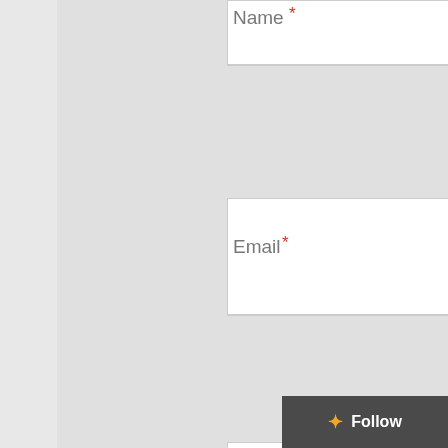[Figure (screenshot): WordPress comment form showing Name field (partially cropped at top), Email field with red asterisk, Website field, and a checkbox labeled 'Save my name, email, and website in this browser for the next'. A footer reads 'Proudly powered by WordPress'. A Follow button appears bottom-right.]
Name *
Email *
Website
Save my name, email, and website in this browser for the next
Proudly powered by WordPress
Follow